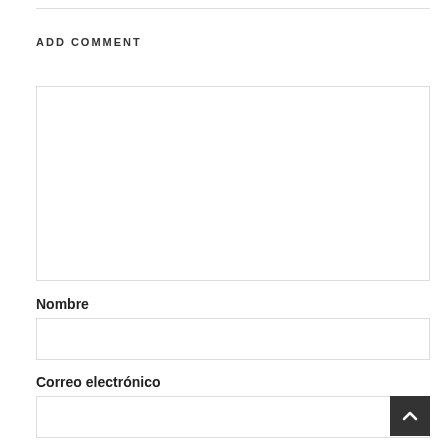ADD COMMENT
[Figure (other): Large text area input box for comment]
Nombre
[Figure (other): Single-line text input for Nombre (Name)]
Correo electrónico
[Figure (other): Single-line text input for Correo electrónico (Email)]